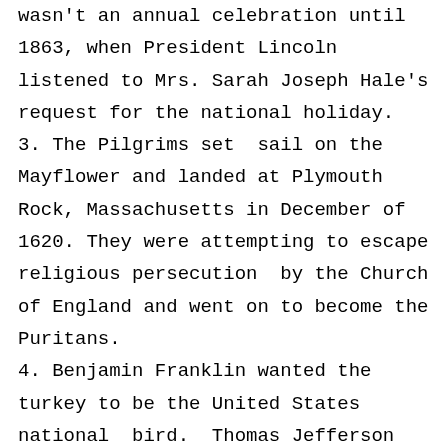wasn't an annual celebration until 1863, when President Lincoln listened to Mrs. Sarah Joseph Hale's request for the national holiday.
3. The Pilgrims set  sail on the Mayflower and landed at Plymouth Rock, Massachusetts in December of 1620. They were attempting to escape religious persecution  by the Church of England and went on to become the Puritans.
4. Benjamin Franklin wanted the turkey to be the United States national  bird.  Thomas Jefferson opposed him.  It is said that “Tom the Turkey,” was Franklin’s way of spiting Jefferson!
5. The Macy’s Thanksgiving Day Parade became a tradition in the Roaring 20’s.